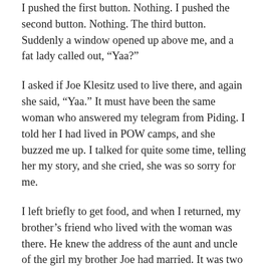I pushed the first button. Nothing. I pushed the second button. Nothing. The third button. Suddenly a window opened up above me, and a fat lady called out, “Yaa?”
I asked if Joe Klesitz used to live there, and again she said, “Yaa.” It must have been the same woman who answered my telegram from Piding. I told her I had lived in POW camps, and she buzzed me up. I talked for quite some time, telling her my story, and she cried, she was so sorry for me.
I left briefly to get food, and when I returned, my brother’s friend who lived with the woman was there. He knew the address of the aunt and uncle of the girl my brother Joe had married. It was two kilometers away, and he said we should walk over there right then. So we did.
My sister-in-law’s aunt and uncle were home, and they gave me the address in Canada for my family. When I got